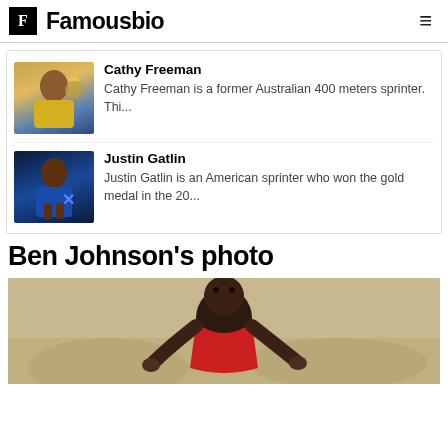Famousbio
Cathy Freeman
Cathy Freeman is a former Australian 400 meters sprinter. Thi...
Justin Gatlin
Justin Gatlin is an American sprinter who won the gold medal in the 20...
Ben Johnson's photo
[Figure (photo): Ben Johnson, athlete in red, crouching at starting position on track]